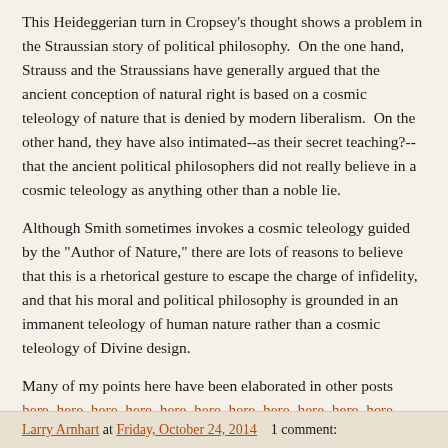This Heideggerian turn in Cropsey's thought shows a problem in the Straussian story of political philosophy.  On the one hand, Strauss and the Straussians have generally argued that the ancient conception of natural right is based on a cosmic teleology of nature that is denied by modern liberalism.  On the other hand, they have also intimated--as their secret teaching?--that the ancient political philosophers did not really believe in a cosmic teleology as anything other than a noble lie.
Although Smith sometimes invokes a cosmic teleology guided by the "Author of Nature," there are lots of reasons to believe that this is a rhetorical gesture to escape the charge of infidelity, and that his moral and political philosophy is grounded in an immanent teleology of human nature rather than a cosmic teleology of Divine design.
Many of my points here have been elaborated in other posts here, here, here, here, here, here, here, here, here, here, here, here, here, and here.
Larry Arnhart at Friday, October 24, 2014    1 comment: